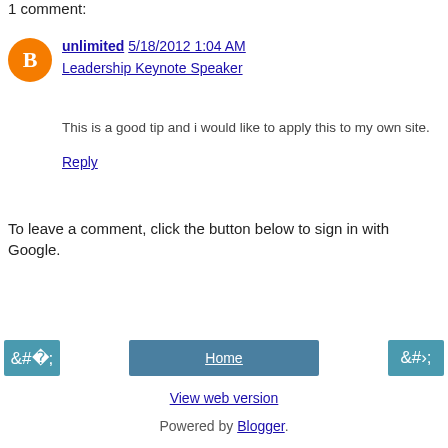1 comment:
unlimited  5/18/2012 1:04 AM
Leadership Keynote Speaker

This is a good tip and i would like to apply this to my own site.

Reply
To leave a comment, click the button below to sign in with Google.
SIGN IN WITH GOOGLE
Home
View web version
Powered by Blogger.